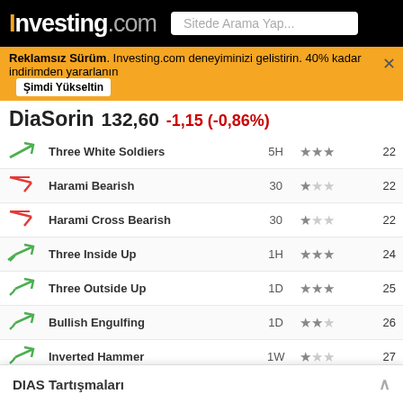Investing.com — Sitede Arama Yap...
Reklamsız Sürüm. Investing.com deneyiminizi gelistirin. 40% kadar indirimden yararlanın — Şimdi Yükseltin
DiaSorin  132,60  -1,15 (-0,86%)
| Icon | Pattern | Timeframe | Stars | Candles |
| --- | --- | --- | --- | --- |
| ↗ | Three White Soldiers | 5H | ★★★ | 22 |
| ↘ | Harami Bearish | 30 | ★ | 22 |
| ↘ | Harami Cross Bearish | 30 | ★ | 22 |
| ↗ | Three Inside Up | 1H | ★★★ | 24 |
| ↗ | Three Outside Up | 1D | ★★★ | 25 |
| ↗ | Bullish Engulfing | 1D | ★★ | 26 |
| ↗ | Inverted Hammer | 1W | ★ | 27 |
| ↘ | Thrusting Bearish | 30 | ★ | 27 |
| ↗ | Three Inside Up | 30 | ★★★ | 29 |
| ↗ | Harami Bullish | 30 | ★ | 30 |
| ↘ | Three Black Crows | 1M | ★★★ | 31 |
| ↘ | Three Outside Down | 30 | ★★★ | 31 |
| ↘ | Engulfing... | 30 | ★★ |  |
| ↗ | Bullish E... | 30 | ★★★ |  |
DIAS Tartışmaları